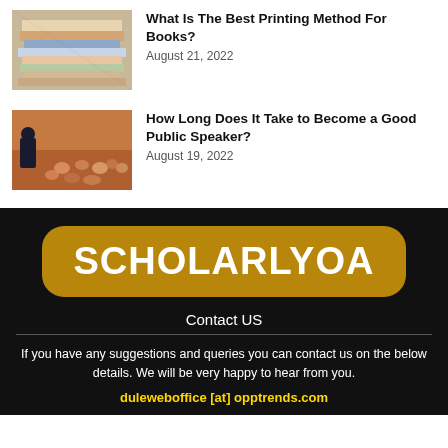[Figure (photo): Stack of books/printed materials]
What Is The Best Printing Method For Books?
August 21, 2022
[Figure (photo): Public speaker presenting to audience in auditorium]
How Long Does It Take to Become a Good Public Speaker?
August 19, 2022
[Figure (logo): SCHOLARLYOA gold badge logo on black background]
Contact US
If you have any suggestions and queries you can contact us on the below details. We will be very happy to hear from you.
duleweboffice [at] opptrends.com